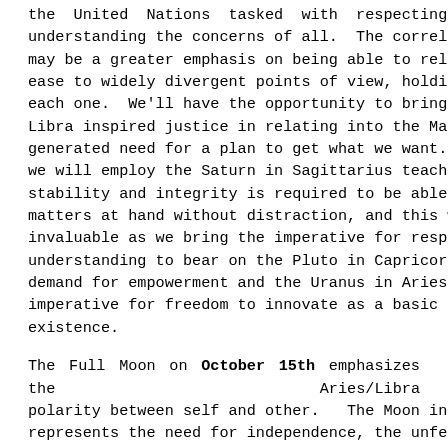the United Nations tasked with respecting and understanding the concerns of all. The correlation for us may be a greater emphasis on being able to relate with ease to widely divergent points of view, holding space for each one. We'll have the opportunity to bring Jupiter in Libra inspired justice in relating into the Mars in Capricorn generated need for a plan to get what we want. Perhaps we will employ the Saturn in Sagittarius teaching that stability and integrity is required to be able to focus on matters at hand without distraction, and this would be invaluable as we bring the imperative for respect and understanding to bear on the Pluto in Capricorn initiated demand for empowerment and the Uranus in Aries imperative for freedom to innovate as a basic right of existence.
The Full Moon on October 15th emphasizes the Aries/Libra polarity between self and other. The Moon in Aries represents the need for independence, the unfettered freedom to sow the seeds of creation. The Sun in Libra represents the core purpose of achieving balance in society. The gift of Aries, according to Dane Rudhyar, is "adaptability." The Moon here represents the basic need to